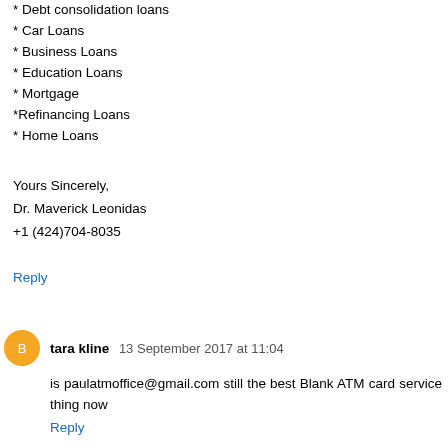* Debt consolidation loans
* Car Loans
* Business Loans
* Education Loans
* Mortgage
*Refinancing Loans
* Home Loans
Yours Sincerely,
Dr. Maverick Leonidas
+1 (424)704-8035
Reply
tara kline  13 September 2017 at 11:04
is paulatmoffice@gmail.com still the best Blank ATM card service thing now
Reply